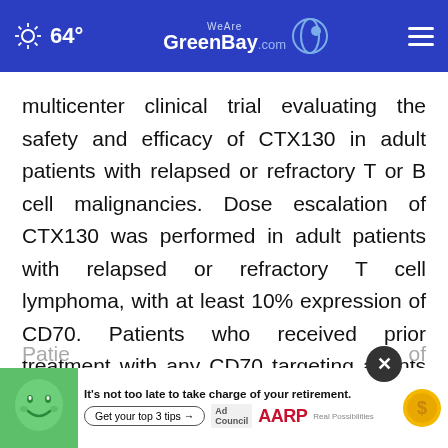64° WeAreGreenBay.com
multicenter clinical trial evaluating the safety and efficacy of CTX130 in adult patients with relapsed or refractory T or B cell malignancies. Dose escalation of CTX130 was performed in adult patients with relapsed or refractory T cell lymphoma, with at least 10% expression of CD70. Patients who received prior treatment with any CD70 targeting agents were not eligible.
Patie… of